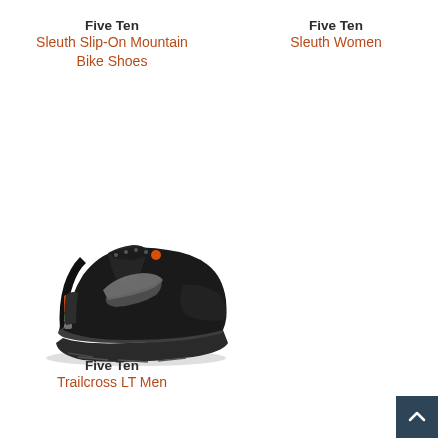Five Ten
Sleuth Slip-On Mountain Bike Shoes
Five Ten
Sleuth Women
[Figure (photo): Black Five Ten Trailcross LT Men mountain bike shoe, side profile view showing grey swoosh logo and orange accent lace, dark grey outsole with tread pattern]
Five Ten
Trailcross LT Men